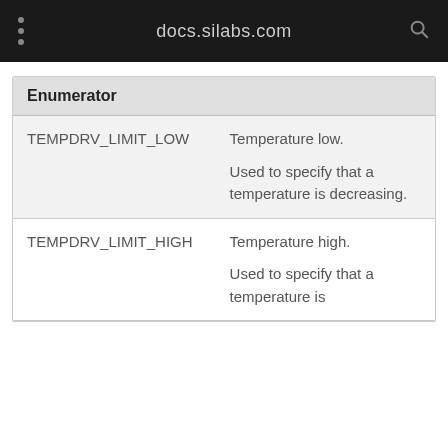docs.silabs.com
| Enumerator |
| --- |
| TEMPDRV_LIMIT_LOW | Temperature low.

Used to specify that a temperature is decreasing. |
| TEMPDRV_LIMIT_HIGH | Temperature high.

Used to specify that a temperature is |